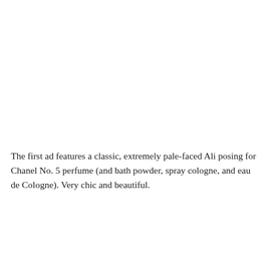The first ad features a classic, extremely pale-faced Ali posing for Chanel No. 5 perfume (and bath powder, spray cologne, and eau de Cologne). Very chic and beautiful.